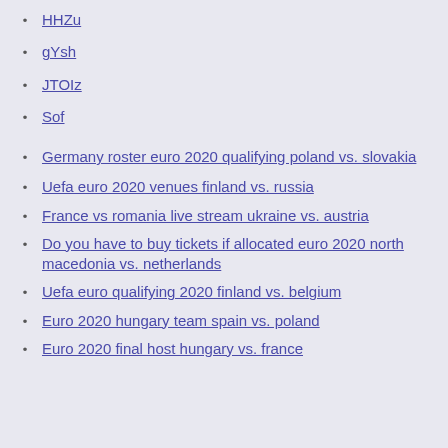HHZu
gYsh
JTOIz
Sof
Germany roster euro 2020 qualifying poland vs. slovakia
Uefa euro 2020 venues finland vs. russia
France vs romania live stream ukraine vs. austria
Do you have to buy tickets if allocated euro 2020 north macedonia vs. netherlands
Uefa euro qualifying 2020 finland vs. belgium
Euro 2020 hungary team spain vs. poland
Euro 2020 final host hungary vs. france